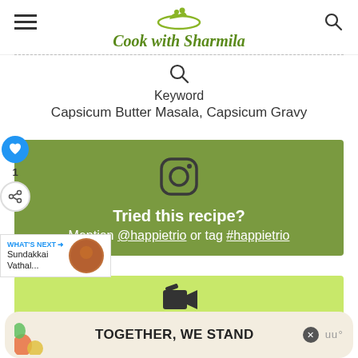Cook with Sharmila
Keyword
Capsicum Butter Masala, Capsicum Gravy
[Figure (screenshot): Instagram promotion banner with olive green background showing Instagram camera icon, text 'Tried this recipe? Mention @happietrio or tag #happietrio']
WHAT'S NEXT → Sundakkai Vathal...
[Figure (screenshot): Light green section with a play/video icon]
[Figure (screenshot): Advertisement banner reading 'TOGETHER, WE STAND' with colorful blobs and a logo]